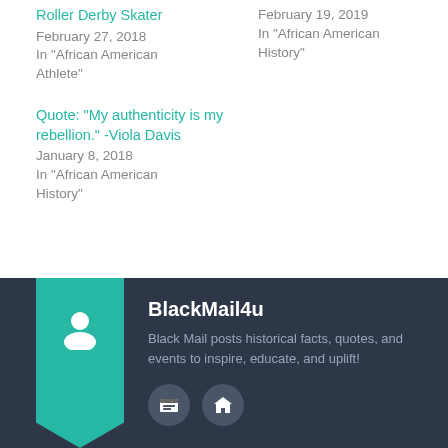Roller Derby Skater
February 27, 2018
In "African American Athlete"
February 19, 2019
In "African American History"
Quote: "My authenticity is my rebellion." -Viola Davis
January 8, 2018
In "African American History"
BlackMail4u
Black Mail posts historical facts, quotes, and events to inspire, educate, and uplift!